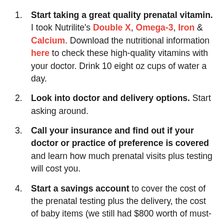Start taking a great quality prenatal vitamin. I took Nutrilite's Double X, Omega-3, Iron & Calcium. Download the nutritional information here to check these high-quality vitamins with your doctor. Drink 10 eight oz cups of water a day.
Look into doctor and delivery options. Start asking around.
Call your insurance and find out if your doctor or practice of preference is covered and learn how much prenatal visits plus testing will cost you.
Start a savings account to cover the cost of the prenatal testing plus the delivery, the cost of baby items (we still had $800 worth of must-